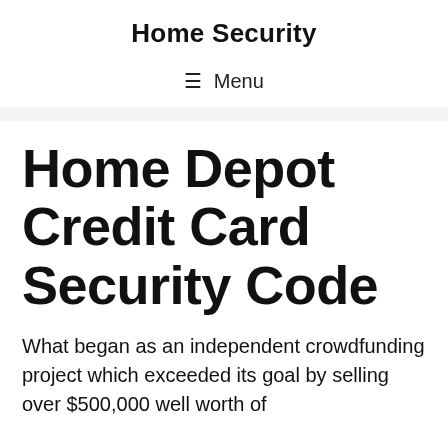Home Security
☰ Menu
Home Depot Credit Card Security Code
What began as an independent crowdfunding project which exceeded its goal by selling over $500,000 well worth of